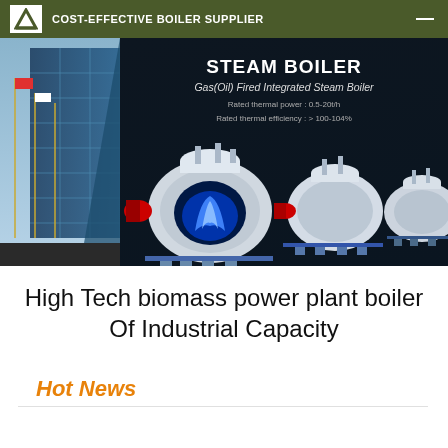COST-EFFECTIVE BOILER SUPPLIER
[Figure (photo): Banner image of steam boilers product lineup on dark navy background with building in background. Shows multiple cylindrical industrial boilers with blue flame cutaway view. Text overlay reads 'STEAM BOILER - Gas(Oil) Fired Integrated Steam Boiler - Rated thermal power: 0.5-20t/h - Rated thermal efficiency: > 100-104%']
High Tech biomass power plant boiler Of Industrial Capacity
Hot News